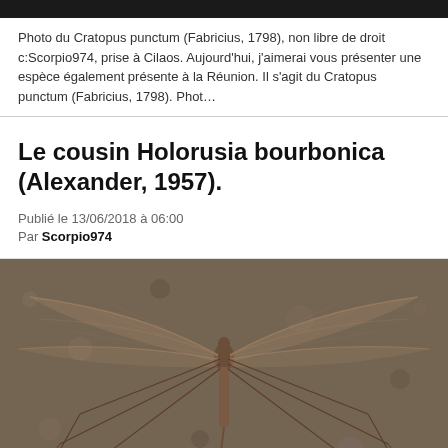Photo du Cratopus punctum (Fabricius, 1798), non libre de droit c:Scorpio974, prise à Cilaos. Aujourd'hui, j'aimerai vous présenter une espèce également présente à la Réunion. Il s'agit du Cratopus punctum (Fabricius, 1798). Phot…
Le cousin Holorusia bourbonica (Alexander, 1957).
Publié le 13/06/2018 à 06:00
Par Scorpio974
[Figure (photo): Close-up photograph of a crane fly (Holorusia bourbonica) with wings spread flat against a rough stone surface, viewed from above. The insect is brown with long legs and transparent wings.]